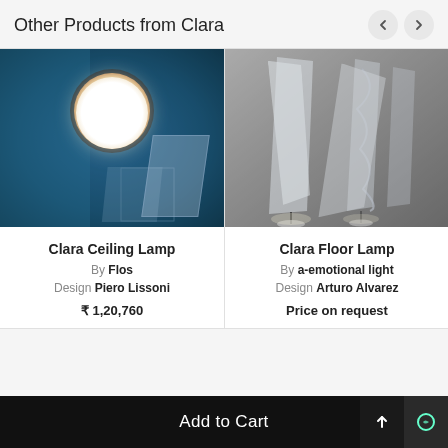Other Products from Clara
[Figure (photo): Clara Ceiling Lamp product photo - round white glowing circle light mounted on a dark teal/blue wall with a furniture piece visible]
Clara Ceiling Lamp
By Flos
Design Piero Lissoni
₹ 1,20,760
[Figure (photo): Clara Floor Lamp product photo - tall translucent mesh/net floor lamps on thin poles with base, against grey concrete wall background]
Clara Floor Lamp
By a-emotional light
Design Arturo Alvarez
Price on request
Add to Cart